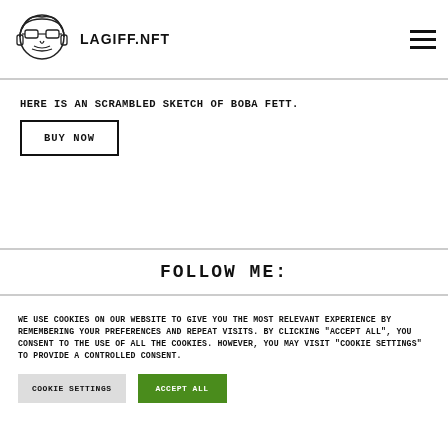LAGIFF.NFT
HERE IS AN SCRAMBLED SKETCH OF BOBA FETT.
BUY NOW
FOLLOW ME:
WE USE COOKIES ON OUR WEBSITE TO GIVE YOU THE MOST RELEVANT EXPERIENCE BY REMEMBERING YOUR PREFERENCES AND REPEAT VISITS. BY CLICKING "ACCEPT ALL", YOU CONSENT TO THE USE OF ALL THE COOKIES. HOWEVER, YOU MAY VISIT "COOKIE SETTINGS" TO PROVIDE A CONTROLLED CONSENT.
COOKIE SETTINGS
ACCEPT ALL